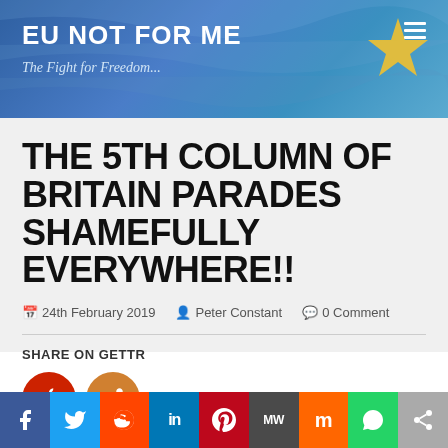EU NOT FOR ME — The Fight for Freedom...
THE 5TH COLUMN OF BRITAIN PARADES SHAMEFULLY EVERYWHERE!!
24th February 2019   Peter Constant   0 Comment
SHARE ON GETTR
f  Twitter  Reddit  in  Pinterest  MW  Mix  WhatsApp  Share